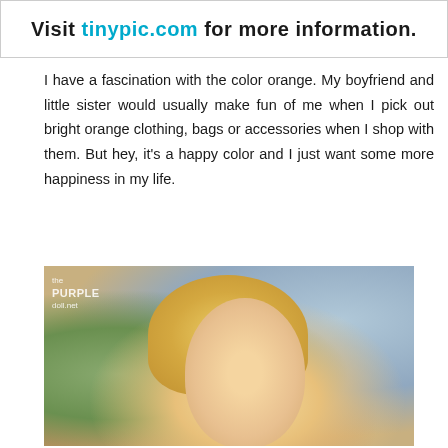Visit tinypic.com for more information.
I have a fascination with the color orange. My boyfriend and little sister would usually make fun of me when I pick out bright orange clothing, bags or accessories when I shop with them. But hey, it's a happy color and I just want some more happiness in my life.
[Figure (photo): Photo of a young woman with blonde/orange hair smiling, with a palm tree and blurred mall/indoor background. Watermark reads 'the PURPLE doll.net' in top left.]